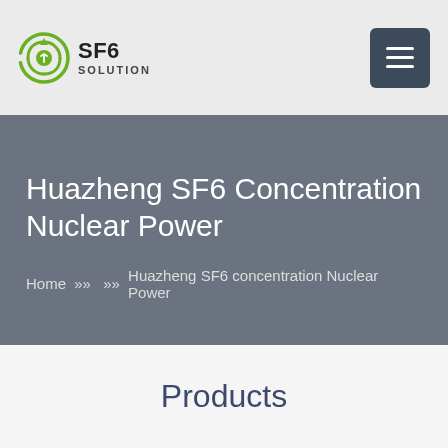SF6 SOLUTION
Huazheng SF6 Concentration Nuclear Power
Home >> >> Huazheng SF6 concentration Nuclear Power
Products